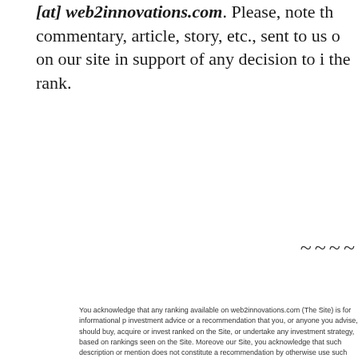[at] web2innovations.com. Please, note th commentary, article, story, etc., sent to us o on our site in support of any decision to i the rank.
~~~~
You acknowledge that any ranking available on web2innovations.com (The Site) is for informational p investment advice or a recommendation that you, or anyone you advise, should buy, acquire or invest ranked on the Site, or undertake any investment strategy, based on rankings seen on the Site. Moreov our Site, you acknowledge that such description or mention does not constitute a recommendation by otherwise use such web site.
[Figure (infographic): A horizontal color gradient bar showing shades from light pink to hot pink, divided into 7 equal segments.]
Back to MyBlogLog.com's overall ranking
© 2006-2008 Web 2.0 Innovations - a division of EPR Network. All Rights Res Web 2.0 Innovations Plain List | The Queue | 800 W Suggestions at info [a Web 2.0 Press R